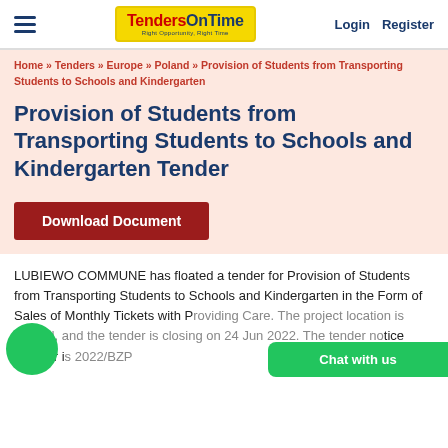TendersOnTime - Login - Register
Home » Tenders » Europe » Poland » Provision of Students from Transporting Students to Schools and Kindergarten
Provision of Students from Transporting Students to Schools and Kindergarten Tender
Download Document
LUBIEWO COMMUNE has floated a tender for Provision of Students from Transporting Students to Schools and Kindergarten in the Form of Sales of Monthly Tickets with Providing Care. The project location is Poland and the tender is closing on 24 Jun 2022. The tender notice number is 2022/BZP